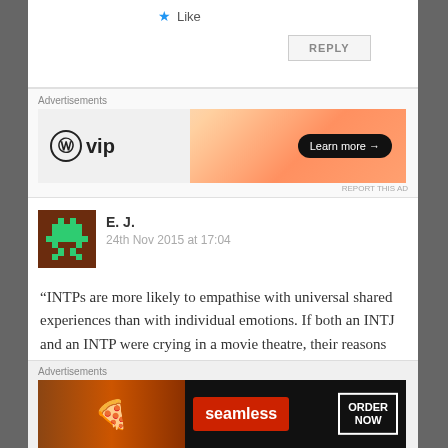[Figure (screenshot): Like button with star icon]
REPLY
Advertisements
[Figure (other): WordPress VIP advertisement banner with Learn more button]
REPORT THIS AD
E. J.
24th Nov 2015 at 17:04
“INTPs are more likely to empathise with universal shared experiences than with individual emotions. If both an INTJ and an INTP were crying in a movie theatre, their reasons would be very different. The INTJ might cry because he had
Advertisements
[Figure (other): Seamless food delivery advertisement with ORDER NOW button and pizza image]